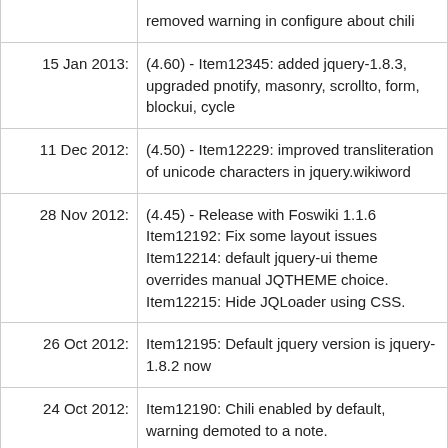| Date | Description |
| --- | --- |
|  | removed warning in configure about chili |
| 15 Jan 2013: | (4.60) - Item12345: added jquery-1.8.3, upgraded pnotify, masonry, scrollto, form, blockui, cycle |
| 11 Dec 2012: | (4.50) - Item12229: improved transliteration of unicode characters in jquery.wikiword |
| 28 Nov 2012: | (4.45) - Release with Foswiki 1.1.6 Item12192: Fix some layout issues Item12214: default jquery-ui theme overrides manual JQTHEME choice. Item12215: Hide JQLoader using CSS. |
| 26 Oct 2012: | Item12195: Default jquery version is jquery-1.8.2 now |
| 24 Oct 2012: | Item12190: Chili enabled by default, warning demoted to a note. |
| 17 Oct 2012: | (4.44) - Item12048: upgraded to jquery-ui-1.8.23; added jquery-1.8.2 |